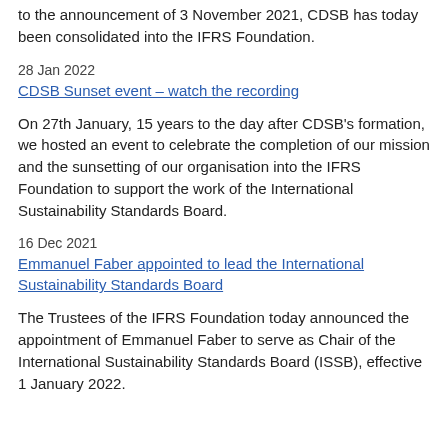to the announcement of 3 November 2021, CDSB has today been consolidated into the IFRS Foundation.
28 Jan 2022
CDSB Sunset event – watch the recording
On 27th January, 15 years to the day after CDSB's formation, we hosted an event to celebrate the completion of our mission and the sunsetting of our organisation into the IFRS Foundation to support the work of the International Sustainability Standards Board.
16 Dec 2021
Emmanuel Faber appointed to lead the International Sustainability Standards Board
The Trustees of the IFRS Foundation today announced the appointment of Emmanuel Faber to serve as Chair of the International Sustainability Standards Board (ISSB), effective 1 January 2022.